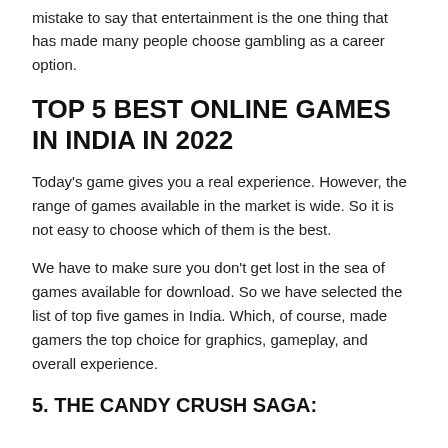mistake to say that entertainment is the one thing that has made many people choose gambling as a career option.
TOP 5 BEST ONLINE GAMES IN INDIA IN 2022
Today's game gives you a real experience. However, the range of games available in the market is wide. So it is not easy to choose which of them is the best.
We have to make sure you don't get lost in the sea of games available for download. So we have selected the list of top five games in India. Which, of course, made gamers the top choice for graphics, gameplay, and overall experience.
5. THE CANDY CRUSH SAGA: